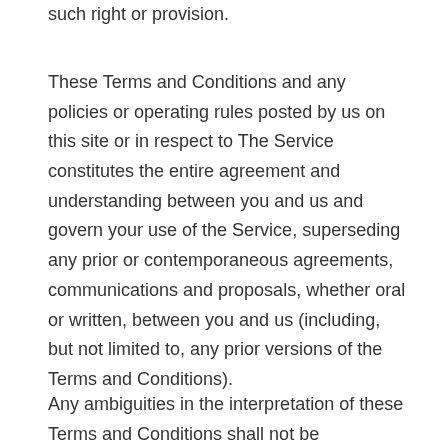such right or provision.
These Terms and Conditions and any policies or operating rules posted by us on this site or in respect to The Service constitutes the entire agreement and understanding between you and us and govern your use of the Service, superseding any prior or contemporaneous agreements, communications and proposals, whether oral or written, between you and us (including, but not limited to, any prior versions of the Terms and Conditions).
Any ambiguities in the interpretation of these Terms and Conditions shall not be